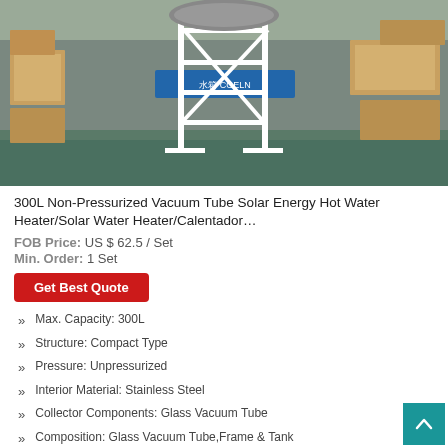[Figure (photo): Photo of a 300L non-pressurized vacuum tube solar water heater with white metal frame/scaffold structure, taken inside a warehouse with cardboard boxes in the background.]
300L Non-Pressurized Vacuum Tube Solar Energy Hot Water Heater/Solar Water Heater/Calentador…
FOB Price: US $ 62.5 / Set
Min. Order: 1 Set
Get Best Quote
Max. Capacity: 300L
Structure: Compact Type
Pressure: Unpressurized
Interior Material: Stainless Steel
Collector Components: Glass Vacuum Tube
Composition: Glass Vacuum Tube,Frame & Tank